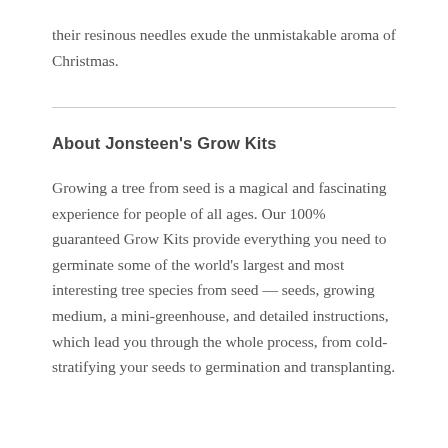their resinous needles exude the unmistakable aroma of Christmas.
About Jonsteen's Grow Kits
Growing a tree from seed is a magical and fascinating experience for people of all ages. Our 100% guaranteed Grow Kits provide everything you need to germinate some of the world's largest and most interesting tree species from seed — seeds, growing medium, a mini-greenhouse, and detailed instructions, which lead you through the whole process, from cold-stratifying your seeds to germination and transplanting.